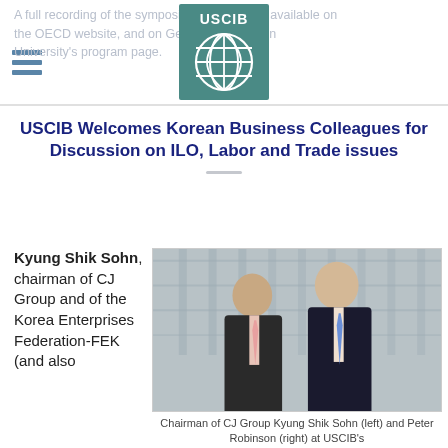A full recording of the symposium will soon be available on the OECD website, and on George Washington University's program page.
[Figure (logo): USCIB logo: teal square with white globe grid and 'USCIB' text above]
USCIB Welcomes Korean Business Colleagues for Discussion on ILO, Labor and Trade issues
Kyung Shik Sohn, chairman of CJ Group and of the Korea Enterprises Federation-FEK (and also
[Figure (photo): Two men in suits standing together indoors with city building visible in background. Left man is older Asian gentleman in dark suit with pink tie. Right man is taller Caucasian in dark suit with blue tie.]
Chairman of CJ Group Kyung Shik Sohn (left) and Peter Robinson (right) at USCIB's